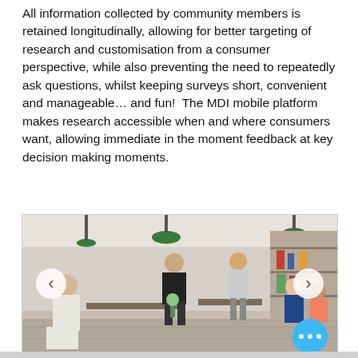All information collected by community members is retained longitudinally, allowing for better targeting of research and customisation from a consumer perspective, while also preventing the need to repeatedly ask questions, whilst keeping surveys short, convenient and manageable… and fun!  The MDI mobile platform makes research accessible when and where consumers want, allowing immediate in the moment feedback at key decision making moments.
[Figure (photo): Interior of a busy modern cafe/restaurant with hanging green pendant lights, shelving with products, and multiple patrons seated and standing. A waiter is visible serving customers. Navigation arrows (left and right) overlay the image, and a blue circular button with three dots appears in the bottom right corner.]